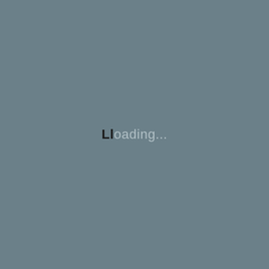[Figure (screenshot): Loading screen with grey-blue background showing the text 'Loading...' centered on the page. The 'L' character appears in dark/black color while the rest of the text 'oading...' appears in a lighter grey color.]